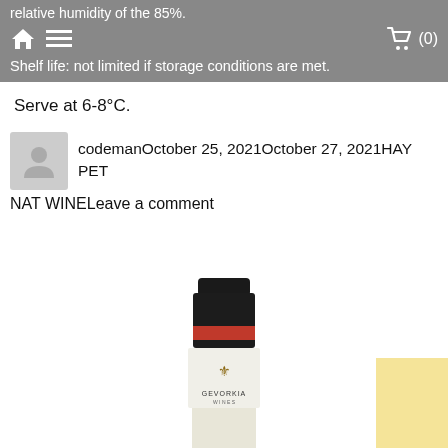relative humidity of the 85%.
Shelf life: not limited if storage conditions are met.
Serve at 6-8°C.
codemanOctober 25, 2021October 27, 2021HAY PET NAT WINELeave a comment
[Figure (photo): Top of a wine bottle with black capsule and red label showing GEVORKIAN winery branding with an eagle emblem]